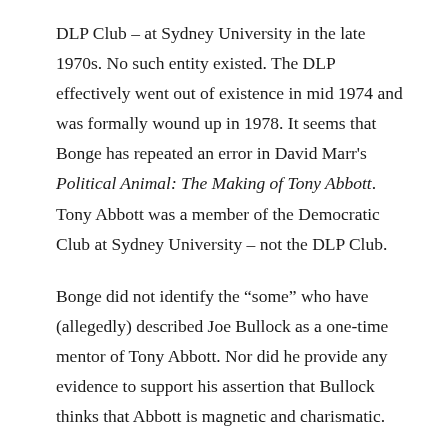DLP Club – at Sydney University in the late 1970s. No such entity existed. The DLP effectively went out of existence in mid 1974 and was formally wound up in 1978. It seems that Bonge has repeated an error in David Marr's Political Animal: The Making of Tony Abbott. Tony Abbott was a member of the Democratic Club at Sydney University – not the DLP Club.
Bonge did not identify the “some” who have (allegedly) described Joe Bullock as a one-time mentor of Tony Abbott. Nor did he provide any evidence to support his assertion that Bullock thinks that Abbott is magnetic and charismatic.